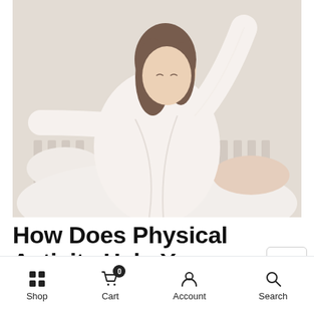[Figure (photo): A young woman in a white robe stretching her arms above her head while sitting on a bed with white bedding, in a bright room with a white brick wall background.]
How Does Physical Activity Help You Sleep Better?
Shop  Cart 0  Account  Search